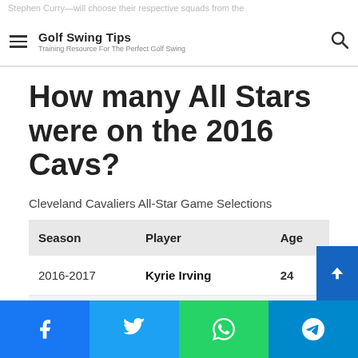Golf Swing Tips — Training Resource For The Perfect Golf Swing
How many All Stars were on the 2016 Cavs?
Cleveland Cavaliers All-Star Game Selections
| Season | Player | Age |
| --- | --- | --- |
| 2016-2017 | Kyrie Irving | 24 |
| 2016-2017 | LeBron James | 32 |
| 2016-2017 | Kevin Love | 28 |
| 2015-2016 | LeBron James | 31 |